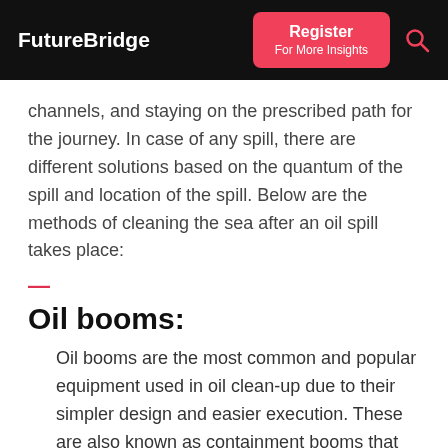FutureBridge | Register For More Insights
channels, and staying on the prescribed path for the journey. In case of any spill, there are different solutions based on the quantum of the spill and location of the spill. Below are the methods of cleaning the sea after an oil spill takes place:
Oil booms:
Oil booms are the most common and popular equipment used in oil clean-up due to their simpler design and easier execution. These are also known as containment booms that enclose the oil to a smaller area and prevents it from spreading further.